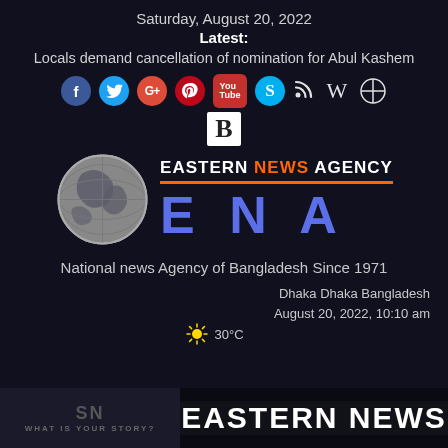Saturday, August 20, 2022
Latest:
Locals demand cancellation of nomination for Abul Kashem
[Figure (infographic): Row of social media icons: Facebook, Twitter, Google+, Pinterest, YouTube, Skype, RSS, Wikipedia, Balanced (Aperture-like), and a B logo]
[Figure (logo): Eastern News Agency logo with globe, ENA letters in blue, orange underline bar, and text EASTERN NEWS AGENCY]
National news Agency of Bangladesh Since 1971
Dhaka Dhaka Bangladesh
August 20, 2022, 10:10 am
30°C
EASTERN NEWS